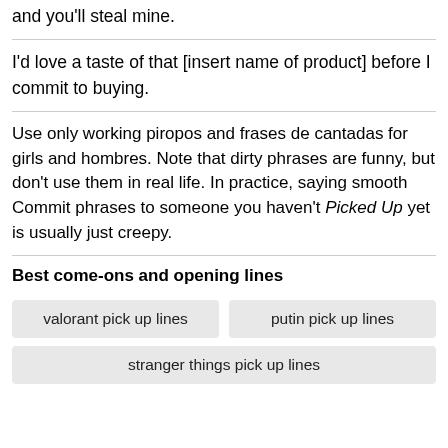and you'll steal mine.
I'd love a taste of that [insert name of product] before I commit to buying.
Use only working piropos and frases de cantadas for girls and hombres. Note that dirty phrases are funny, but don't use them in real life. In practice, saying smooth Commit phrases to someone you haven't Picked Up yet is usually just creepy.
Best come-ons and opening lines
valorant pick up lines
putin pick up lines
stranger things pick up lines